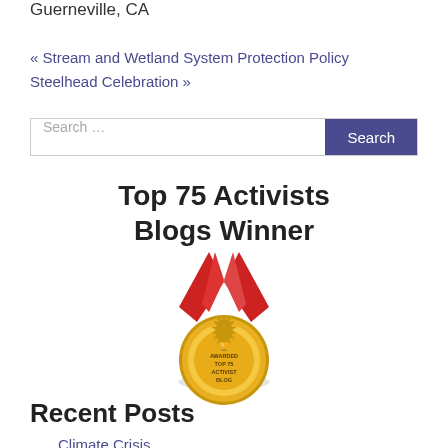Guerneville, CA
« Stream and Wetland System Protection Policy
Steelhead Celebration »
Search …
Top 75 Activists Blogs Winner
[Figure (illustration): Gold medal award badge with red ribbon, text reading AWARDED TOP 75 ACTIVIST BLOG]
Recent Posts
Climate Crisis…